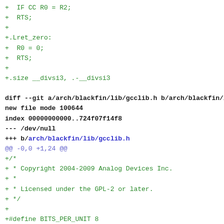+ IF CC R0 = R2;
+ RTS;
+
+.Lret_zero:
+ R0 = 0;
+ RTS;
+
+.size __divsi3, .-__divsi3

diff --git a/arch/blackfin/lib/gcclib.h b/arch/blackfin/lib/g
new file mode 100644
index 00000000000..724f07f14f8
--- /dev/null
+++ b/arch/blackfin/lib/gcclib.h
@@ -0,0 +1,24 @@
+/*
+ * Copyright 2004-2009 Analog Devices Inc.
+ *
+ * Licensed under the GPL-2 or later.
+ */
+
+#define BITS_PER_UNIT 8
+#define SI_TYPE_SIZE (sizeof (SItype) * BITS_PER_UNIT)
+
+typedef unsigned int UQItype __attribute__ ((mode(QI)));